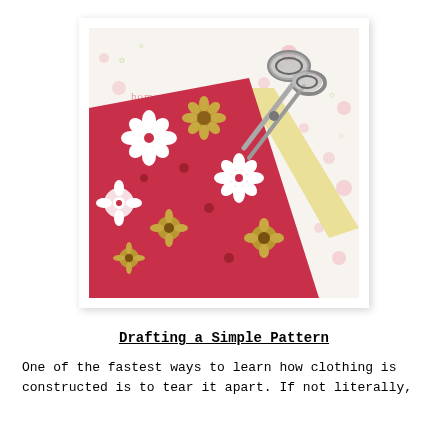[Figure (photo): A photo showing a red floral-patterned fabric garment (short sleeve top/dress) laid out alongside a pair of metal scissors and yellow fabric on a white/floral background. The fabric features white and gold flower designs on red. A watermark reads 'home ec' in the upper left area of the image.]
Drafting a Simple Pattern
One of the fastest ways to learn how clothing is constructed is to tear it apart. If not literally,